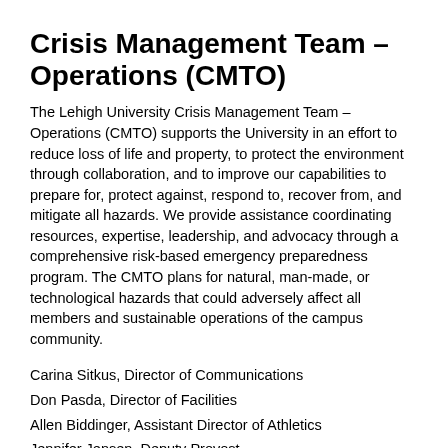Crisis Management Team – Operations (CMTO)
The Lehigh University Crisis Management Team – Operations (CMTO) supports the University in an effort to reduce loss of life and property, to protect the environment through collaboration, and to improve our capabilities to prepare for, protect against, respond to, recover from, and mitigate all hazards. We provide assistance coordinating resources, expertise, leadership, and advocacy through a comprehensive risk-based emergency preparedness program. The CMTO plans for natural, man-made, or technological hazards that could adversely affect all members and sustainable operations of the campus community.
Carina Sitkus, Director of Communications
Don Pasda, Director of Facilities
Allen Biddinger, Assistant Director of Athletics
Jennifer Jensen, Deputy Provost
Chris Houtz, Assistant Police Chief
Steve Lewis, LUEMS